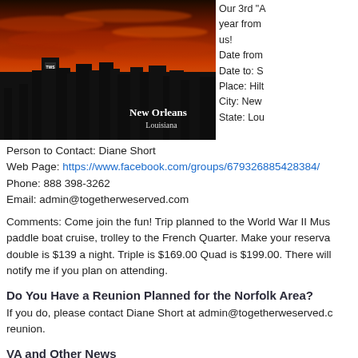[Figure (photo): New Orleans Louisiana city skyline silhouette against a dramatic red-orange sunset sky, with TWS logo on a building]
Our 3rd "A year from us! Date from Date to: S Place: Hilt City: New State: Lou
Person to Contact: Diane Short
Web Page: https://www.facebook.com/groups/679326885428384/
Phone: 888 398-3262
Email: admin@togetherweserved.com
Comments: Come join the fun! Trip planned to the World War II Mus paddle boat cruise, trolley to the French Quarter. Make your reserva double is $139 a night. Triple is $169.00 Quad is $199.00. There will notify me if you plan on attending.
Do You Have a Reunion Planned for the Norfolk Area?
If you do, please contact Diane Short at admin@togetherweserved.c reunion.
VA and Other News
Our Gallant Men
This Website supports the Mendocino County Vietnam War Memoria